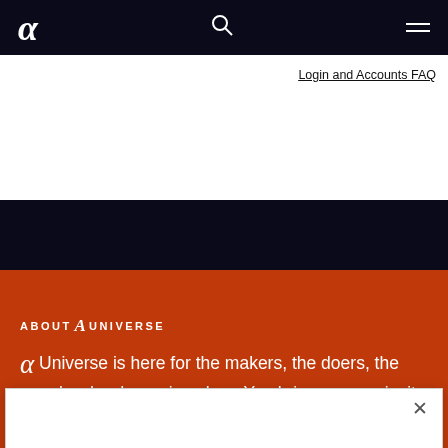α [Sony Alpha logo] | [search icon] | [menu icon]
Login and Accounts FAQ
ABOUT α UNIVERSE
α Universe is here for the makers, the doers, the people who dream in colors. You bring your curiosity and ideas, we'll
Sony Electronics and its advertising and analytics and